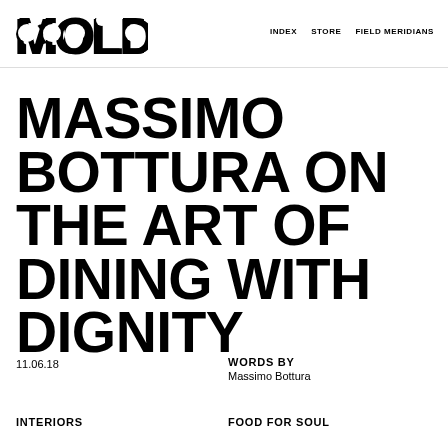MOLD | INDEX   STORE   FIELD MERIDIANS
MASSIMO BOTTURA ON THE ART OF DINING WITH DIGNITY
11.06.18
WORDS BY
Massimo Bottura
INTERIORS
FOOD FOR SOUL